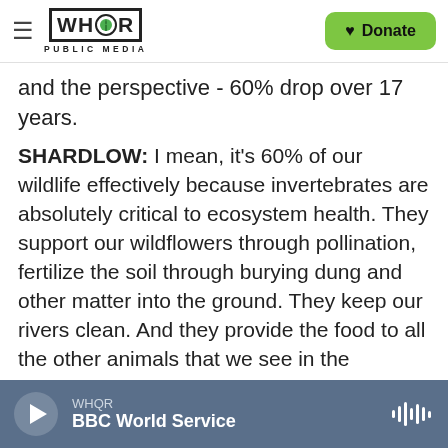WHQR PUBLIC MEDIA | Donate
and the perspective - 60% drop over 17 years.
SHARDLOW: I mean, it's 60% of our wildlife effectively because invertebrates are absolutely critical to ecosystem health. They support our wildflowers through pollination, fertilize the soil through burying dung and other matter into the ground. They keep our rivers clean. And they provide the food to all the other animals that we see in the countryside. So losing 60% of them in just 17 years is a pretty big crisis.
SIMON: And what are some of the reasons for why it may have happened?
WHQR | BBC World Service